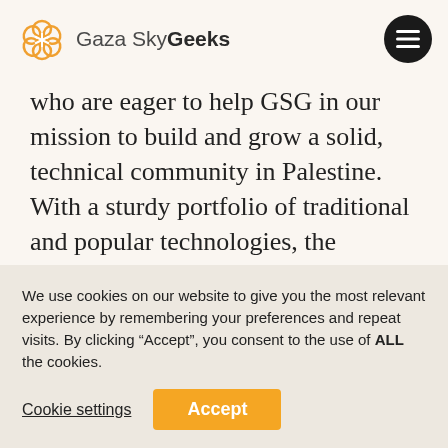[Figure (logo): Gaza Sky Geeks logo with orange flower/cloud icon and text]
who are eager to help GSG in our mission to build and grow a solid, technical community in Palestine. With a sturdy portfolio of traditional and popular technologies, the ecosystem is constantly looking for new opportunities and ways to stay relevant. This includes stepping into the future of tech by
We use cookies on our website to give you the most relevant experience by remembering your preferences and repeat visits. By clicking “Accept”, you consent to the use of ALL the cookies.
Cookie settings
Accept